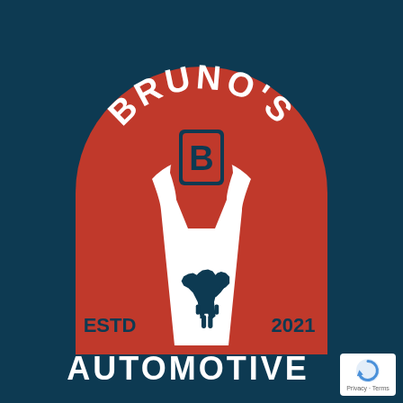[Figure (logo): Bruno's Automotive logo: dark navy background with a red arch-shaped badge containing a white wrench graphic, a 'B' letter badge at the top center of the wrench, a dark navy Boston Terrier dog silhouette in the lower portion of the wrench, text 'BRUNO'S' curved along the top arch in white, 'ESTD' on the lower left and '2021' on the lower right in navy, and 'AUTOMOTIVE' in large white bold text at the bottom.]
Privacy · Terms